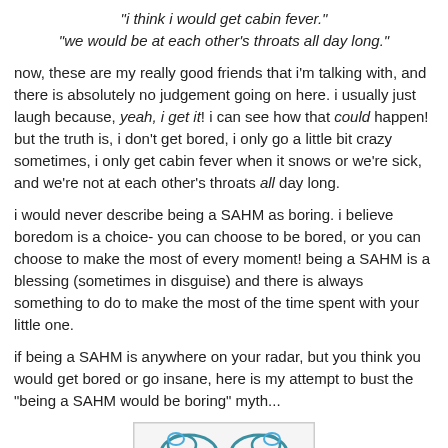"i think i would get cabin fever."
"we would be at each other's throats all day long."
now, these are my really good friends that i'm talking with, and there is absolutely no judgement going on here. i usually just laugh because, yeah, i get it! i can see how that could happen! but the truth is, i don't get bored, i only go a little bit crazy sometimes, i only get cabin fever when it snows or we're sick, and we're not at each other's throats all day long.
i would never describe being a SAHM as boring. i believe boredom is a choice- you can choose to be bored, or you can choose to make the most of every moment! being a SAHM is a blessing (sometimes in disguise) and there is always something to do to make the most of the time spent with your little one.
if being a SAHM is anywhere on your radar, but you think you would get bored or go insane, here is my attempt to bust the "being a SAHM would be boring" myth...
[Figure (illustration): Partial image at bottom of page showing decorative illustration, partially cropped]